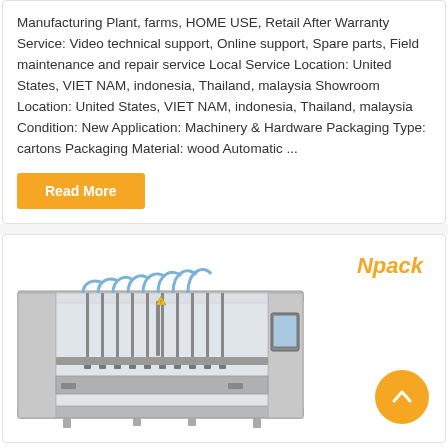Manufacturing Plant, farms, HOME USE, Retail After Warranty Service: Video technical support, Online support, Spare parts, Field maintenance and repair service Local Service Location: United States, VIET NAM, indonesia, Thailand, malaysia Showroom Location: United States, VIET NAM, indonesia, Thailand, malaysia Condition: New Application: Machinery & Hardware Packaging Type: cartons Packaging Material: wood Automatic ...
Read More
Npack
[Figure (photo): Industrial filling/packaging machine (Npack brand) — a large stainless steel multi-head liquid filling machine with multiple filling nozzles and a control panel on the right side.]